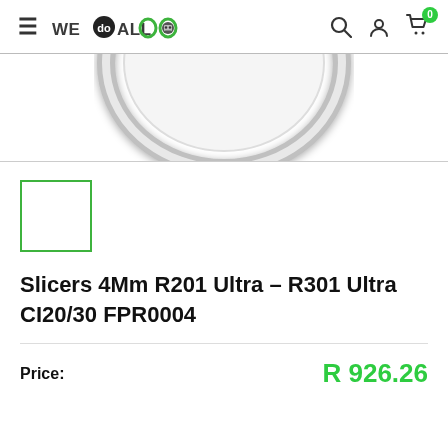WE do ALL — navigation header with search, account, and cart icons
[Figure (photo): Partial view of a circular ring/slicer product, metallic silver, cropped at top]
[Figure (photo): Small thumbnail image with green border, white/blank interior]
Slicers 4Mm R201 Ultra – R301 Ultra CI20/30 FPR0004
Price: R 926.26